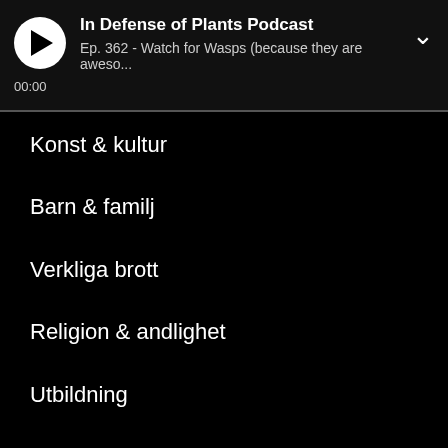In Defense of Plants Podcast — Ep. 362 - Watch for Wasps (because they are aweso... 00:00
Konst & kultur
Barn & familj
Verkliga brott
Religion & andlighet
Utbildning
TV & film
Musik
Myndighet & organisation
Teknologi